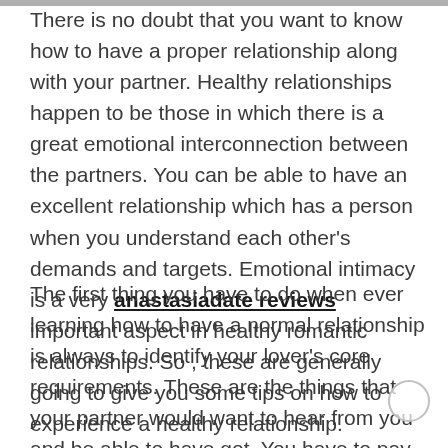There is no doubt that you want to know how to have a proper relationship along with your partner. Healthy relationships happen to be those in which there is a great emotional interconnection between the partners. You can be able to have an excellent relationship which has a person when you understand each other's demands and targets. Emotional intimacy is a very anastasiadate reviews important aspect in healthy romantic relationships. So , these are generally going to give you some tips on how to experience a healthy relationship.
The first thing you have to do when ever learning how to have a normal relationship is always to identify your lover's core requirements. These are the things that your partner would want to hear from you and be able to have got. You have to pay attention to what your partner wants to state and